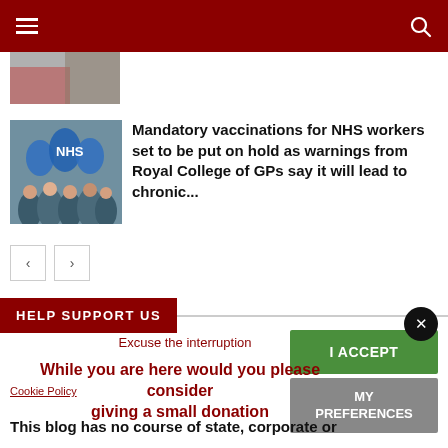Navigation bar with hamburger menu and search icon
[Figure (photo): Partial article thumbnail at top, cropped]
[Figure (photo): NHS workers rally, people holding blue NHS balloons/letters]
Mandatory vaccinations for NHS workers set to be put on hold as warnings from Royal College of GPs say it will lead to chronic...
< > pagination buttons
HELP SUPPORT US
Excuse the interruptio...
While you are here would you ple... giving a small donatio...
Cookie Policy
This blog has no course of state, corporate or...
I ACCEPT
MY PREFERENCES